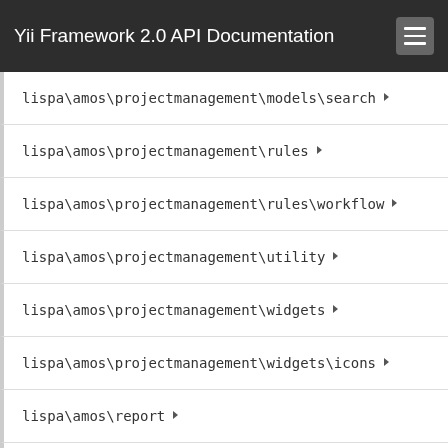Yii Framework 2.0 API Documentation
lispa\amos\projectmanagement\models\search
lispa\amos\projectmanagement\rules
lispa\amos\projectmanagement\rules\workflow
lispa\amos\projectmanagement\utility
lispa\amos\projectmanagement\widgets
lispa\amos\projectmanagement\widgets\icons
lispa\amos\report
lispa\amos\report\controllers
lispa\amos\report\models
lispa\amos\report\models\base